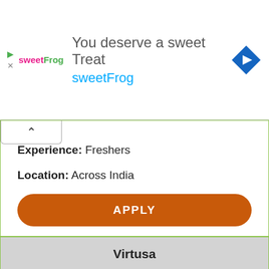[Figure (other): sweetFrog advertisement banner with logo, text 'You deserve a sweet Treat', 'sweetFrog', and a blue navigation arrow icon]
Experience: Freshers
Location: Across India
APPLY
Virtusa
Job Role: Fresher
Qualification: Graduates, Postgraduates